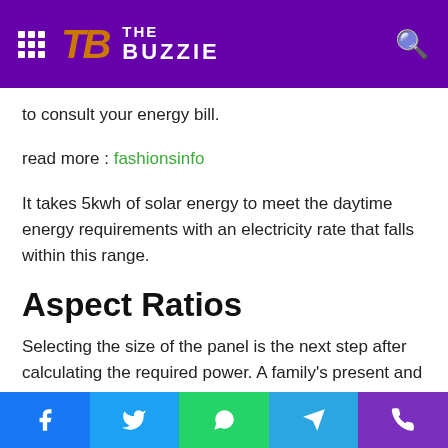The Buzzie
to consult your energy bill.
read more : fashionsinfo
It takes 5kwh of solar energy to meet the daytime energy requirements with an electricity rate that falls within this range.
Aspect Ratios
Selecting the size of the panel is the next step after calculating the required power. A family's present and future energy requirements should be considered while selecting
Facebook | Twitter | WhatsApp | Telegram | Phone